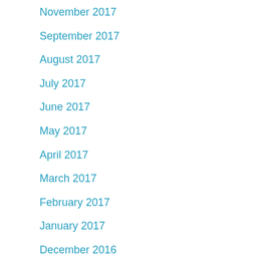November 2017
September 2017
August 2017
July 2017
June 2017
May 2017
April 2017
March 2017
February 2017
January 2017
December 2016
November 2016
October 2016
September 2016